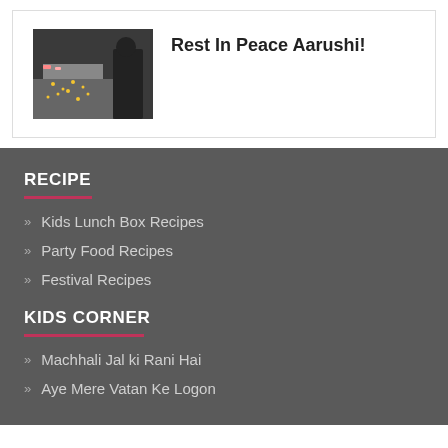[Figure (photo): A dark image showing candles or lights arranged on a surface, possibly a memorial setting]
Rest In Peace Aarushi!
RECIPE
Kids Lunch Box Recipes
Party Food Recipes
Festival Recipes
KIDS CORNER
Machhali Jal ki Rani Hai
Aye Mere Vatan Ke Logon